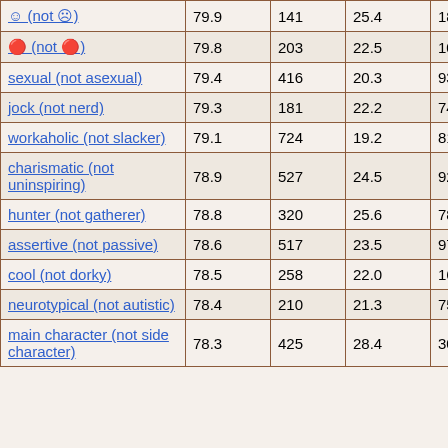| ☺ (not ☹) | 79.9 | 141 | 25.4 | 187 |
| ☻ (not ☻) | 79.8 | 203 | 22.5 | 100 |
| sexual (not asexual) | 79.4 | 416 | 20.3 | 93 |
| jock (not nerd) | 79.3 | 181 | 22.2 | 74 |
| workaholic (not slacker) | 79.1 | 724 | 19.2 | 81 |
| charismatic (not uninspiring) | 78.9 | 527 | 24.5 | 92 |
| hunter (not gatherer) | 78.8 | 320 | 25.6 | 78 |
| assertive (not passive) | 78.6 | 517 | 23.5 | 97 |
| cool (not dorky) | 78.5 | 258 | 22.0 | 164 |
| neurotypical (not autistic) | 78.4 | 210 | 21.3 | 75 |
| main character (not side character) | 78.3 | 425 | 28.4 | 30 |